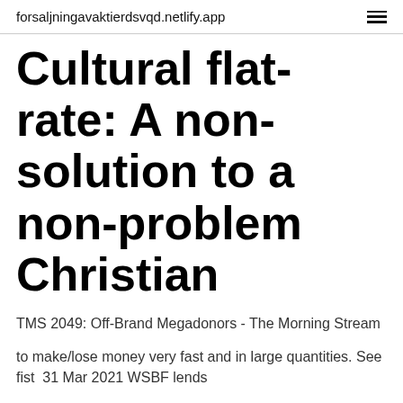forsaljningavaktierdsvqd.netlify.app
Cultural flat-rate: A non-solution to a non-problem Christian
TMS 2049: Off-Brand Megadonors - The Morning Stream
to make/lose money very fast and in large quantities. See fist  31 Mar 2021 WSBF lends